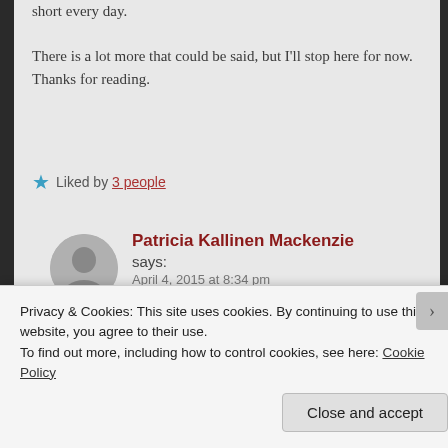short every day.
There is a lot more that could be said, but I'll stop here for now. Thanks for reading.
★ Liked by 3 people
Patricia Kallinen Mackenzie says:
April 4, 2015 at 8:34 pm

David, well done for living your faith to the best of your ability. (I mean that sincerely, I'm not being the least sarcastic. Just in case anybody wonders.)
Privacy & Cookies: This site uses cookies. By continuing to use this website, you agree to their use.
To find out more, including how to control cookies, see here: Cookie Policy
Close and accept